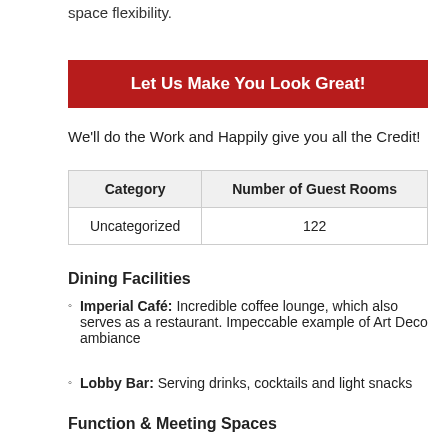space flexibility.
Let Us Make You Look Great!
We'll do the Work and Happily give you all the Credit!
| Category | Number of Guest Rooms |
| --- | --- |
| Uncategorized | 122 |
Dining Facilities
Imperial Café:  Incredible coffee lounge, which also serves as a restaurant. Impeccable example of Art Deco ambiance
Lobby Bar:  Serving drinks, cocktails and light snacks
Function & Meeting Spaces